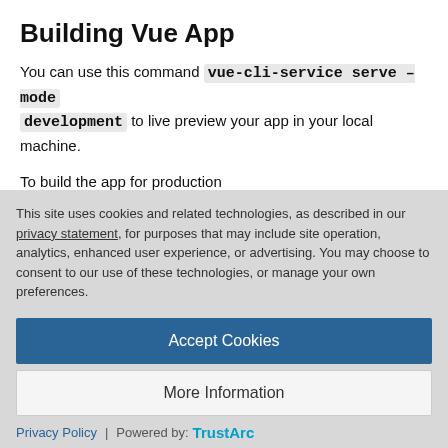Building Vue App
You can use this command vue-cli-service serve –mode development to live preview your app in your local machine.
To build the app for production vue-cli-service build --mode production --target app --modern
If you prefer user interface you can run vue ui in your project folder…
This site uses cookies and related technologies, as described in our privacy statement, for purposes that may include site operation, analytics, enhanced user experience, or advertising. You may choose to consent to our use of these technologies, or manage your own preferences.
Accept Cookies
More Information
Privacy Policy | Powered by: TrustArc